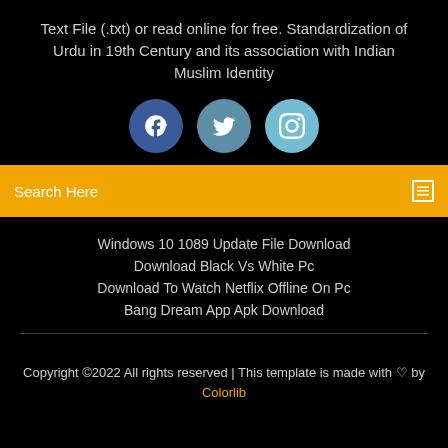Text File (.txt) or read online for free. Standardization of Urdu in 19th Century and its association with Indian Muslim Identity
[Figure (illustration): Three social media icon circles: Facebook (dark blue), Twitter (medium blue), Instagram (light blue)]
Search Here
Windows 10 1089 Update File Download
Download Black Vs White Pc
Download To Watch Netflix Offline On Pc
Bang Dream App Apk Download
Copyright ©2022 All rights reserved | This template is made with ♡ by Colorlib